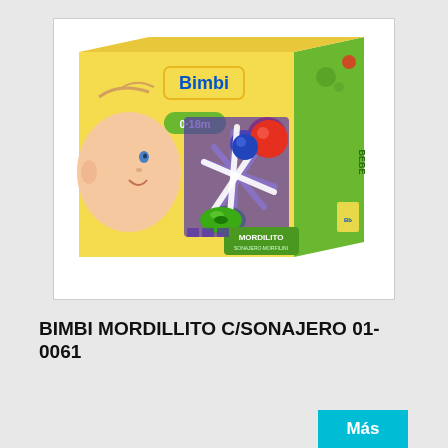[Figure (photo): Product photo of Bimbi Mordillito C/Sonajero toy rattle teether in its packaging box. The box is yellow and green with the Bimbi brand logo and shows a baby on the left side and a colorful rattle toy with red, blue and green balls on a white frame. Label reads 0-18m.]
BIMBI MORDILLITO C/SONAJERO 01-0061
Más